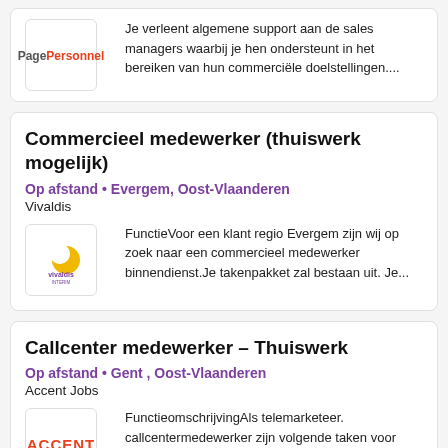Je verleent algemene support aan de sales managers waarbij je hen ondersteunt in het bereiken van hun commerciële doelstellingen....
Commercieel medewerker (thuiswerk mogelijk)
Op afstand • Evergem, Oost-Vlaanderen
Vivaldis
FunctieVoor een klant regio Evergem zijn wij op zoek naar een commercieel medewerker binnendienst.Je takenpakket zal bestaan uit. Je...
Callcenter medewerker – Thuiswerk
Op afstand • Gent , Oost-Vlaanderen
Accent Jobs
FunctieomschrijvingAls telemarketeer. callcentermedewerker zijn volgende taken voor jou.Help je mee aan projecten naar...